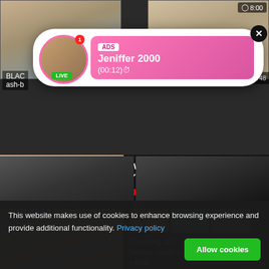[Figure (screenshot): Adult video thumbnail grid website screenshot with popup ad notification]
ADS
Jeniffer 2000
(00:12)⏱
LIVE
WHAT DO YOU WANT?
WATCH
● Online
Cumming, ass fucking, squirt or...
• ADS
BLAC
wife Cheats With
85%  826
Daniels romping
78%  3 794
© 615
© 8:00
4%   748
This website makes use of cookies to enhance browsing experience and provide additional functionality. Privacy policy
Allow cookies